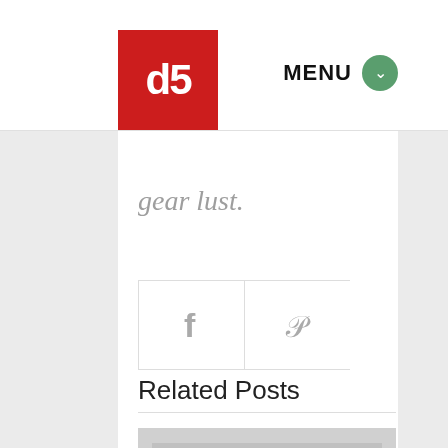[Figure (logo): Red square logo with white 'db' letters]
MENU
gear lust.
[Figure (infographic): Social sharing buttons: Facebook (f) and Pinterest (p) icons in bordered boxes]
Related Posts
[Figure (photo): Image placeholder with camera icon on gray background]